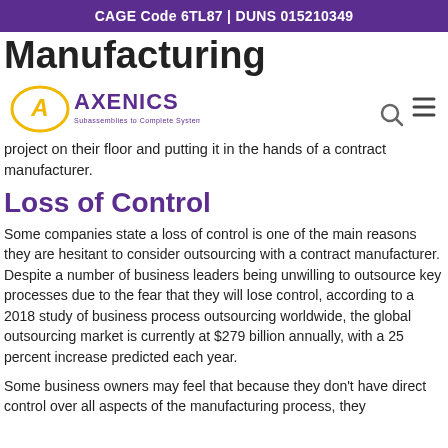CAGE Code 6TL87 | DUNS 015210349
Manufacturing
[Figure (logo): Axenics logo with text 'AXENICS Subassemblies to Complete Systems' in purple and gold, with hamburger menu icon and search icon]
project on their floor and putting it in the hands of a contract manufacturer.
Loss of Control
Some companies state a loss of control is one of the main reasons they are hesitant to consider outsourcing with a contract manufacturer. Despite a number of business leaders being unwilling to outsource key processes due to the fear that they will lose control, according to a 2018 study of business process outsourcing worldwide, the global outsourcing market is currently at $279 billion annually, with a 25 percent increase predicted each year.
Some business owners may feel that because they don't have direct control over all aspects of the manufacturing process, they